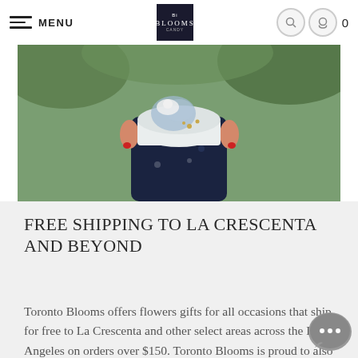MENU | BLOOMS LOGO | 0
[Figure (photo): Person in navy blue floral dress holding a white decorated cake, with green foliage background]
FREE SHIPPING TO LA CRESCENTA AND BEYOND
Toronto Blooms offers flowers gifts for all occasions that ship for free to La Crescenta and other select areas across the Los Angeles on orders over $150. Toronto Blooms is proud to also offer